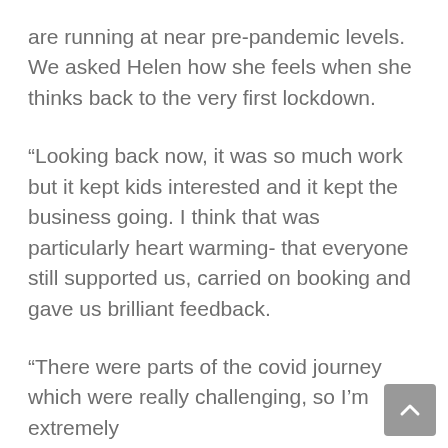are running at near pre-pandemic levels. We asked Helen how she feels when she thinks back to the very first lockdown.
“Looking back now, it was so much work but it kept kids interested and it kept the business going. I think that was particularly heart warming- that everyone still supported us, carried on booking and gave us brilliant feedback.
“There were parts of the covid journey which were really challenging, so I’m extremely pr[oud] of how the staff got through it and of how